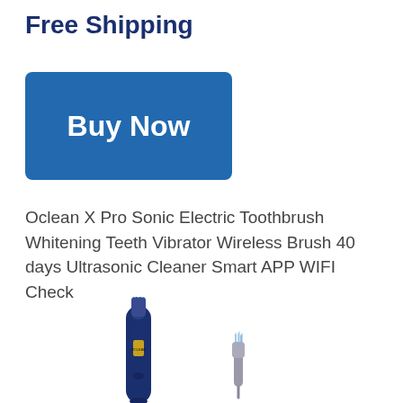Free Shipping
[Figure (other): Blue 'Buy Now' button]
Oclean X Pro Sonic Electric Toothbrush Whitening Teeth Vibrator Wireless Brush 40 days Ultrasonic Cleaner Smart APP WIFI Check
[Figure (photo): Product photo of an Oclean X Pro Sonic Electric Toothbrush in dark blue with a replacement brush head next to it]